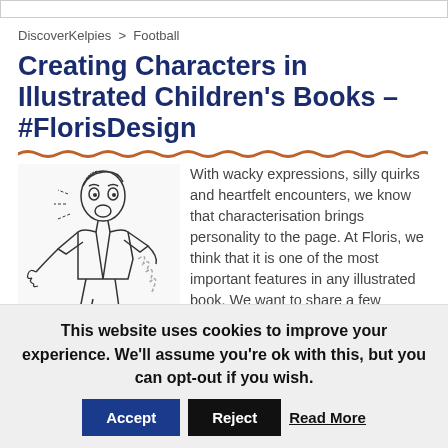DiscoverKelpies > Football
Creating Characters in Illustrated Children's Books – #FlorisDesign
[Figure (illustration): Pencil sketch illustration of a young boy with a surprised/scared expression, arms outstretched, appearing startled]
With wacky expressions, silly quirks and heartfelt encounters, we know that characterisation brings personality to the page. At Floris, we think that it is one of the most important features in any illustrated book. We want to share a few examples of how illustrators can make characters' personality shine.
This website uses cookies to improve your experience. We'll assume you're ok with this, but you can opt-out if you wish.